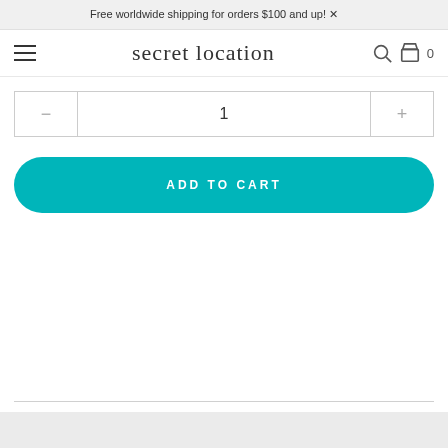Free worldwide shipping for orders $100 and up!
[Figure (screenshot): Secret Location e-commerce website header with hamburger menu, brand logo, search icon, and shopping bag icon showing 0 items]
[Figure (screenshot): Quantity selector with minus button, value 1, and plus button]
[Figure (screenshot): ADD TO CART teal rounded button]
[Figure (screenshot): Social sharing icons: Twitter bird, Facebook f, Pinterest P, and envelope/email icon]